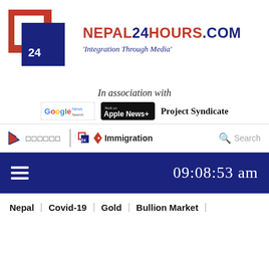[Figure (logo): Nepal24Hours.com logo — red and blue overlapping square N shapes with '24' in white, beside text 'NEPAL24HOURS.COM' in red/blue and tagline 'Integration Through Media' in italic blue]
In association with
[Figure (logo): Google News badge, Apple News+ badge, and Project Syndicate text logo shown side by side]
□□□□□□   Immigration   Search
09:08:53 am
Nepal | Covid-19 | Gold | Bullion Market |